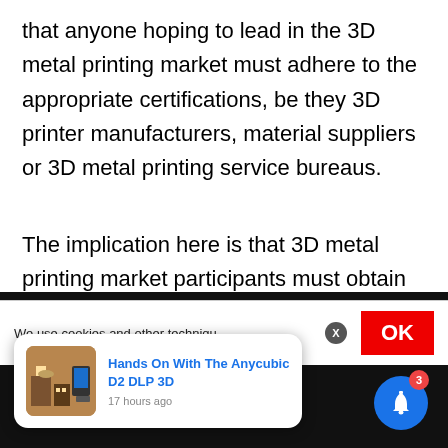that anyone hoping to lead in the 3D metal printing market must adhere to the appropriate certifications, be they 3D printer manufacturers, material suppliers or 3D metal printing service bureaus.
The implication here is that 3D metal printing market participants must obtain all of the relevant certifications if they hope to compete successfully.
We use cookies and other techniqu...
[Figure (screenshot): Browser notification card showing 'Hands On With The Anycubic D2 DLP 3D' article thumbnail with timestamp '17 hours ago', overlaid on a dark bottom bar with a blue bell notification icon with badge count 3 and red OK button for cookie consent.]